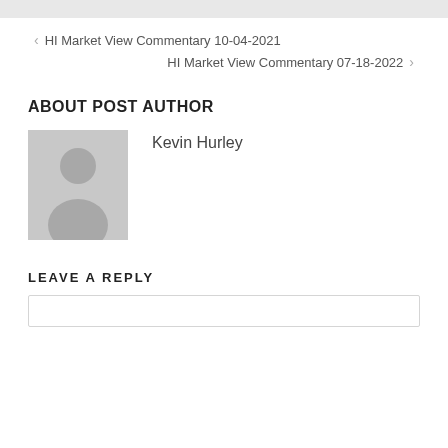< HI Market View Commentary 10-04-2021
HI Market View Commentary 07-18-2022 >
ABOUT POST AUTHOR
[Figure (photo): Generic user avatar placeholder image - grey silhouette of a person on grey background]
Kevin Hurley
LEAVE A REPLY